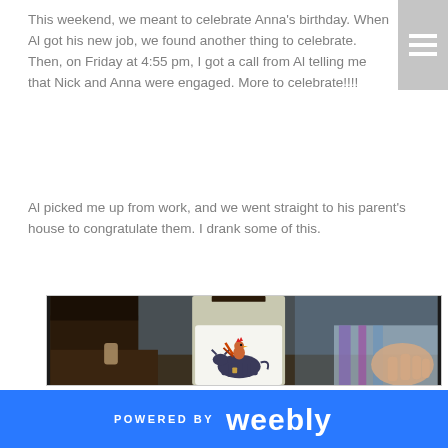This weekend, we meant to celebrate Anna's birthday. When Al got his new job, we found another thing to celebrate. Then, on Friday at 4:55 pm, I got a call from Al telling me that Nick and Anna were engaged. More to celebrate!!!!
Al picked me up from work, and we went straight to his parent's house to congratulate them. I drank some of this.
[Figure (photo): A wine bottle with a white label showing an illustration of a rooster perched on top of a cow, set against a background of a wooden table and colorful striped fabric. An elderly person's hand is visible on the right side.]
POWERED BY weebly